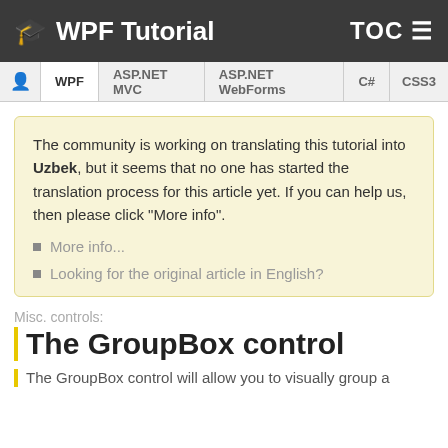WPF Tutorial   TOC
WPF | ASP.NET MVC | ASP.NET WebForms | C# | CSS3
The community is working on translating this tutorial into Uzbek, but it seems that no one has started the translation process for this article yet. If you can help us, then please click "More info".
More info...
Looking for the original article in English?
Misc. controls:
The GroupBox control
The GroupBox control will allow you to visually group a